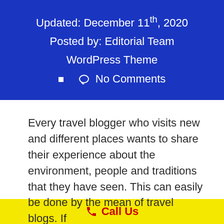Updated: December 11th, 2020
Posted by: Editorial Team
WordPress Theme
▪  ◯  No Comments
Every travel blogger who visits new and different places wants to share their experience about the environment, people and traditions that they have seen. This can easily be done by the mean of travel blogs. If
📞 Call Us